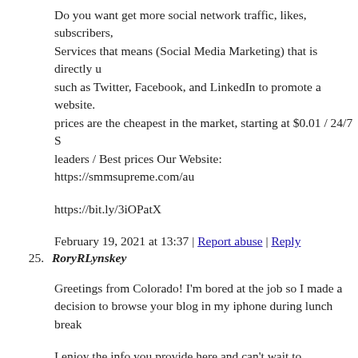Do you want get more social network traffic, likes, subscribers, Services that means (Social Media Marketing) that is directly u such as Twitter, Facebook, and LinkedIn to promote a website. prices are the cheapest in the market, starting at $0.01 / 24/7 S leaders / Best prices Our Website: https://smmsupreme.com/au
https://bit.ly/3iOPatX
February 19, 2021 at 13:37 | Report abuse | Reply
25. RoryRLynskey
Greetings from Colorado! I'm bored at the job so I made a decision to browse your blog in my iphone during lunch break
I enjoy the info you provide here and can't wait to have a look as i go back home. I'm shocked at how quick your blog loaded on my small phone .. I'm not really using WIFI, ju Anyways, very good blog!
Feel free to surf to my web-site RoryRLynskey
February 21, 2021 at 07:31 | Report abuse | Reply
26. Free Advertising UK
We absolutely love your blog and find the majority of your pos